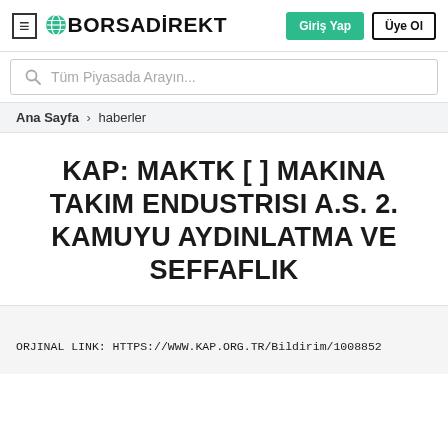≡ BORSADIREKT   Giriş Yap  Üye Ol
Tüm Piyasada Arayın...
Ana Sayfa > haberler
KAP: MAKTK [ ] MAKINA TAKIM ENDUSTRISI A.S. 2. KAMUYU AYDINLATMA VE SEFFAFLIK
ORJINAL LINK: HTTPS://WWW.KAP.ORG.TR/Bildirim/1008852